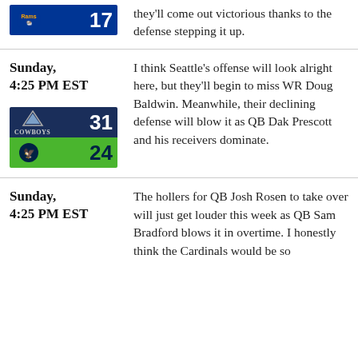[Figure (other): Rams 17 score box graphic (navy and gold)]
they'll come out victorious thanks to the defense stepping it up.
Sunday, 4:25 PM EST
[Figure (other): Cowboys 31 vs Seahawks 24 score box graphic]
I think Seattle's offense will look alright here, but they'll begin to miss WR Doug Baldwin.  Meanwhile, their declining defense will blow it as QB Dak Prescott and his receivers dominate.
Sunday, 4:25 PM EST
The hollers for QB Josh Rosen to take over will just get louder this week as QB Sam Bradford blows it in overtime.  I honestly think the Cardinals would be so